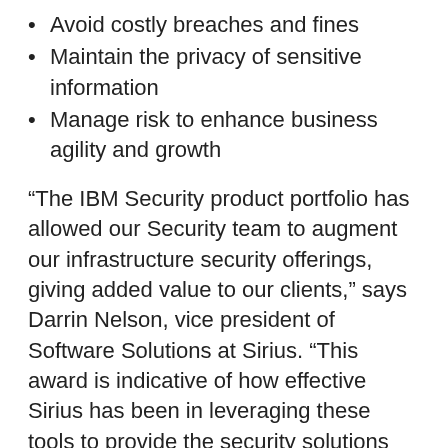Avoid costly breaches and fines
Maintain the privacy of sensitive information
Manage risk to enhance business agility and growth
“The IBM Security product portfolio has allowed our Security team to augment our infrastructure security offerings, giving added value to our clients,” says Darrin Nelson, vice president of Software Solutions at Sirius. “This award is indicative of how effective Sirius has been in leveraging these tools to provide the security solutions our clients demand.”
With hands-on experience in security architecture, operations and risk management, including PCI DSS v2, HIPAA/HITECH and Meaningful Use Incentives, ISO 270xx, NIST, COBIT, NERC, FFIEC, and GLBA, Sirius helps clients